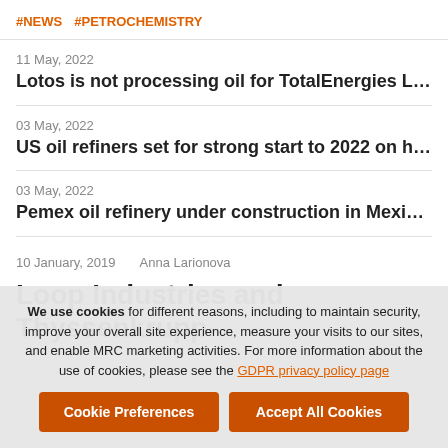#NEWS  #PETROCHEMISTRY
11 May, 2022
Lotos is not processing oil for TotalEnergies Leuna refinery in…
03 May, 2022
US oil refiners set for strong start to 2022 on higher global fu…
03 May, 2022
Pemex oil refinery under construction in Mexico is unlikely to …
10 January, 2019    Anna Larionova
Loop Industries and Thyssenkrupp
We use cookies for different reasons, including to maintain security, improve your overall site experience, measure your visits to our sites, and enable MRC marketing activities. For more information about the use of cookies, please see the GDPR privacy policy page
Cookie Preferences    Accept All Cookies